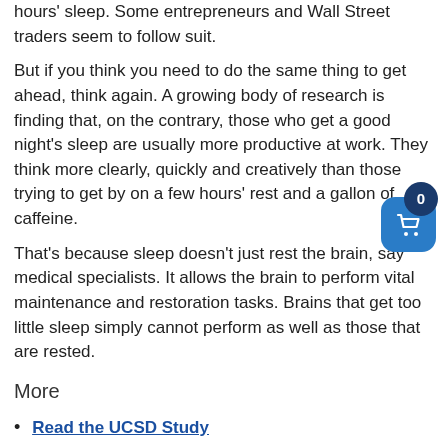hours' sleep. Some entrepreneurs and Wall Street traders seem to follow suit.
But if you think you need to do the same thing to get ahead, think again. A growing body of research is finding that, on the contrary, those who get a good night's sleep are usually more productive at work. They think more clearly, quickly and creatively than those trying to get by on a few hours' rest and a gallon of caffeine.
That's because sleep doesn't just rest the brain, say medical specialists. It allows the brain to perform vital maintenance and restoration tasks. Brains that get too little sleep simply cannot perform as well as those that are rested.
More
Read the UCSD Study
“There’s no doubt that sleep deprivation affects job performance,” says